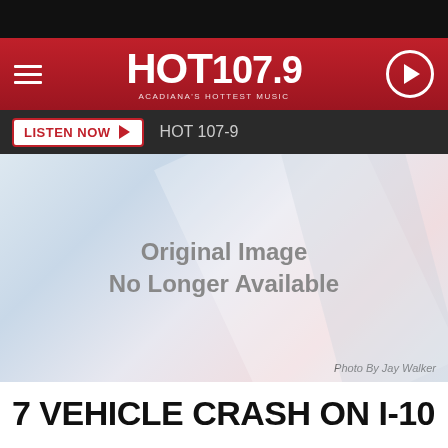[Figure (logo): HOT 107.9 radio station logo with red background, hamburger menu icon on left, circular play button on right. Tagline: Acadiana's Hottest Music]
[Figure (screenshot): Listen Now button bar with station name HOT 107-9 on dark background]
[Figure (photo): Original Image No Longer Available placeholder with geometric shapes. Photo credit: Photo By Jay Walker]
7 VEHICLE CRASH ON I-10